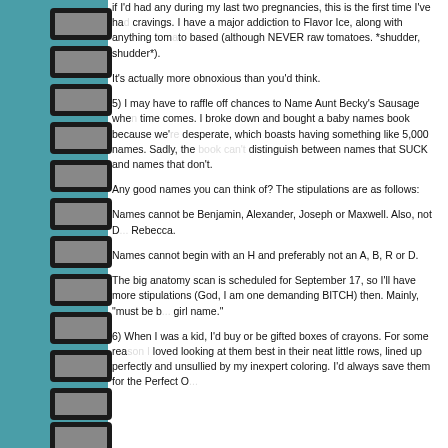if I'd had any during my last two pregnancies, this is the first time I've had cravings. I have a major addiction to Flavor Ice, along with anything tomato based (although NEVER raw tomatoes. *shudder, shudder*).
It's actually more obnoxious than you'd think.
5) I may have to raffle off chances to Name Aunt Becky's Sausage when the time comes. I broke down and bought a baby names book because we're desperate, which boasts having something like 5,000 names. Sadly, the book can't distinguish between names that SUCK and names that don't.
Any good names you can think of? The stipulations are as follows:
Names cannot be Benjamin, Alexander, Joseph or Maxwell. Also, not D... Rebecca.
Names cannot begin with an H and preferably not an A, B, R or D.
The big anatomy scan is scheduled for September 17, so I'll have more stipulations (God, I am one demanding BITCH) then. Mainly, "must be b... girl name."
6) When I was a kid, I'd buy or be gifted boxes of crayons. For some reason I loved looking at them best in their neat little rows, lined up perfectly and unsullied by my inexpert coloring. I'd always save them for the Perfect O...